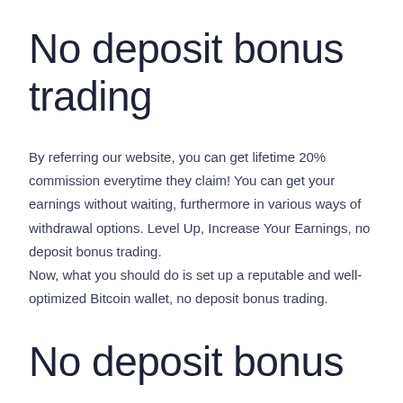No deposit bonus trading
By referring our website, you can get lifetime 20% commission everytime they claim! You can get your earnings without waiting, furthermore in various ways of withdrawal options. Level Up, Increase Your Earnings, no deposit bonus trading. Now, what you should do is set up a reputable and well-optimized Bitcoin wallet, no deposit bonus trading.
No deposit bonus